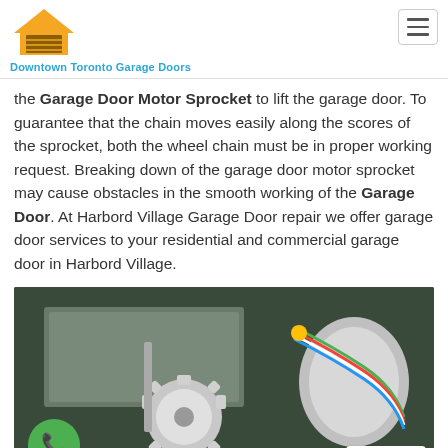Downtown Toronto Garage Doors
the Garage Door Motor Sprocket to lift the garage door. To guarantee that the chain moves easily along the scores of the sprocket, both the wheel chain must be in proper working request. Breaking down of the garage door motor sprocket may cause obstacles in the smooth working of the Garage Door. At Harbord Village Garage Door repair we offer garage door services to your residential and commercial garage door in Harbord Village.
[Figure (photo): Close-up photo of a garage door opener gear and sprocket mechanism with wiring. Overlaid text reads 'Garage Door Opener Gear Replacement Harbord Village - Ontario'. A green phone icon bubble is visible in the lower left. A reCAPTCHA badge appears in the lower right.]